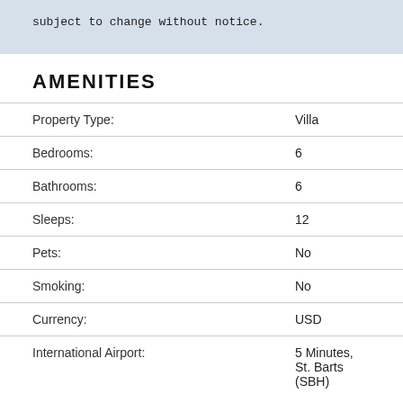subject to change without notice.
AMENITIES
| Property | Value |
| --- | --- |
| Property Type: | Villa |
| Bedrooms: | 6 |
| Bathrooms: | 6 |
| Sleeps: | 12 |
| Pets: | No |
| Smoking: | No |
| Currency: | USD |
| International Airport: | 5 Minutes, St. Barts (SBH) |